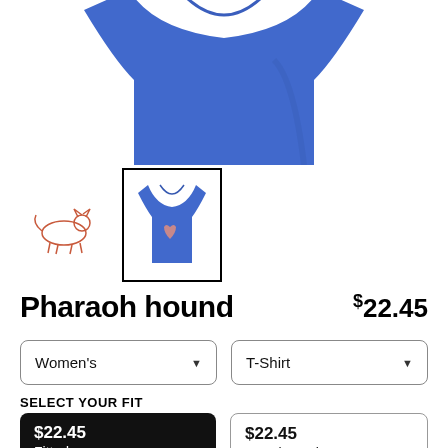[Figure (photo): Blue t-shirt product photo shown from above, partially cropped at top]
[Figure (logo): Pharaoh Hound brand logo thumbnail - small dog illustration with text]
[Figure (photo): Selected thumbnail of blue t-shirt with Pharaoh Hound design, inside black border]
Pharaoh hound
$22.45
Women's
T-Shirt
SELECT YOUR FIT
$22.45 Fitted
$22.45 Regular Unisex